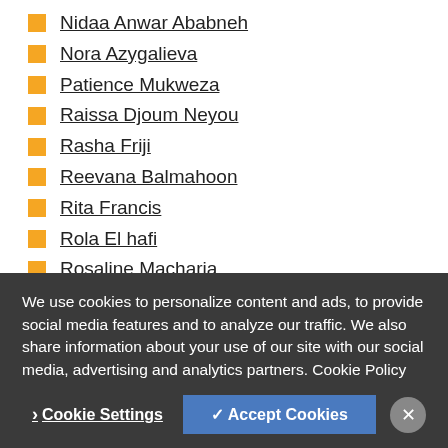Nidaa Anwar Ababneh
Nora Azygalieva
Patience Mukweza
Raissa Djoum Neyou
Rasha Friji
Reevana Balmahoon
Rita Francis
Rola El hafi
Rosaline Macharia
Sadaf Gul
Sadaf Shah
We use cookies to personalize content and ads, to provide social media features and to analyze our traffic. We also share information about your use of our site with our social media, advertising and analytics partners. Cookie Policy
Cookie Settings | ✓ Accept Cookies